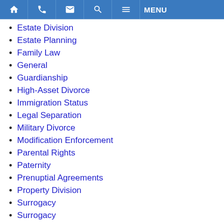Navigation bar with home, phone, email, search, and menu icons
Estate Division
Estate Planning
Family Law
General
Guardianship
High-Asset Divorce
Immigration Status
Legal Separation
Military Divorce
Modification Enforcement
Parental Rights
Paternity
Prenuptial Agreements
Property Division
Surrogacy
Surrogacy
Unfit Parent